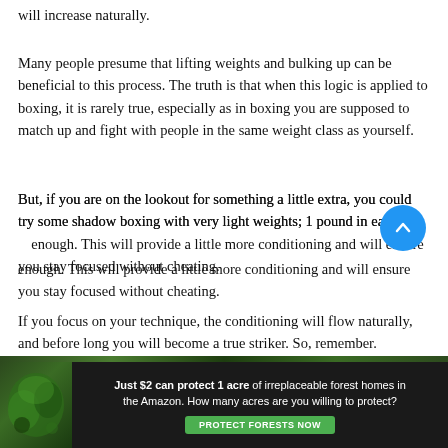will increase naturally.
Many people presume that lifting weights and bulking up can be beneficial to this process. The truth is that when this logic is applied to boxing, it is rarely true, especially as in boxing you are supposed to match up and fight with people in the same weight class as yourself.
But, if you are on the lookout for something a little extra, you could try some shadow boxing with very light weights; 1 pound in each hand is enough. This will provide a little more conditioning and will ensure you stay focused without cheating.
If you focus on your technique, the conditioning will flow naturally, and before long you will become a true striker. So, remember. Technique, technique, technique.
[Figure (photo): Dark nature/forest photo strip at the bottom of the article content area]
[Figure (infographic): Advertisement banner: dark background with forest/nature image on left, text reads 'Just $2 can protect 1 acre of irreplaceable forest homes in the Amazon. How many acres are you willing to protect?' with a green 'PROTECT FORESTS NOW' button]